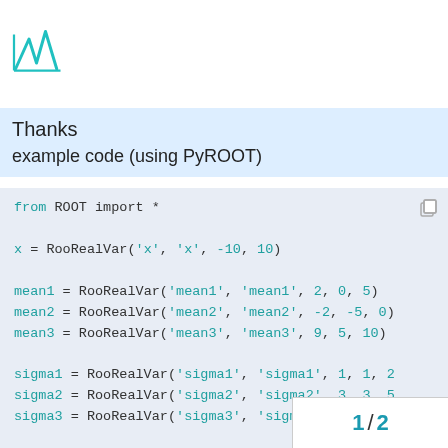[RooFit logo]
Thanks
example code (using PyROOT)
from ROOT import *

x = RooRealVar('x', 'x', -10, 10)

mean1 = RooRealVar('mean1', 'mean1', 2, 0, 5)
mean2 = RooRealVar('mean2', 'mean2', -2, -5, 0)
mean3 = RooRealVar('mean3', 'mean3', 9, 5, 10)

sigma1 = RooRealVar('sigma1', 'sigma1', 1, 1, 2
sigma2 = RooRealVar('sigma2', 'sigma2', 3, 3, 5
sigma3 = RooRealVar('sigma3', 'sigma3', 0.5, 0.

gaus1 = RooGaussian('gaus1', 'g
gaus2 = RooGaussian('gaus2', 'g
1 / 2